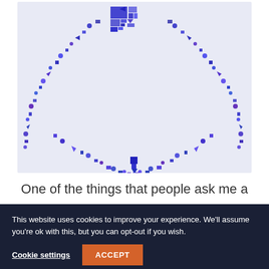[Figure (illustration): A decorative geometric V-shape logo made of blue squares, rectangles, triangles, and circles of various sizes on a light lavender/blue background. The shapes form two diagonal arms meeting at a point at the bottom, creating a V or checkmark shape. At the top center are two rectangle groupings forming a stylized icon.]
One of the things that people ask me a
This website uses cookies to improve your experience. We'll assume you're ok with this, but you can opt-out if you wish.
Cookie settings
ACCEPT